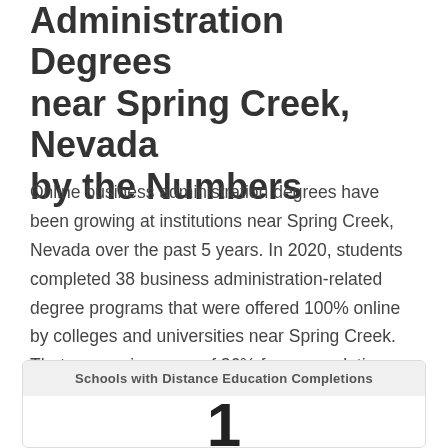Administration Degrees near Spring Creek, Nevada by the Numbers
Online business administration degrees have been growing at institutions near Spring Creek, Nevada over the past 5 years. In 2020, students completed 38 business administration-related degree programs that were offered 100% online by colleges and universities near Spring Creek. That was an increase of 36% from completions reported in 2016.
| Schools with Distance Education Completions |
| --- |
| 1 |